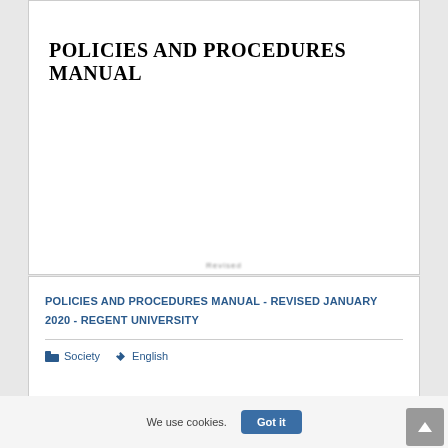[Figure (screenshot): Scanned document page showing bold title 'POLICIES AND PROCEDURES MANUAL' on white background]
POLICIES AND PROCEDURES MANUAL - REVISED JANUARY 2020 - REGENT UNIVERSITY
Society   English
We use cookies.